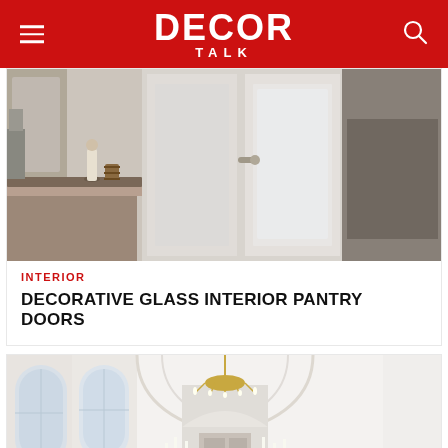DECOR TALK
[Figure (photo): Kitchen interior showing white pantry doors with frosted glass panels and a decorative figurine on granite countertop]
INTERIOR
DECORATIVE GLASS INTERIOR PANTRY DOORS
[Figure (photo): Elegant white hall/event room with arched windows, gold chandelier, white candles, and floral arrangements on a long table]